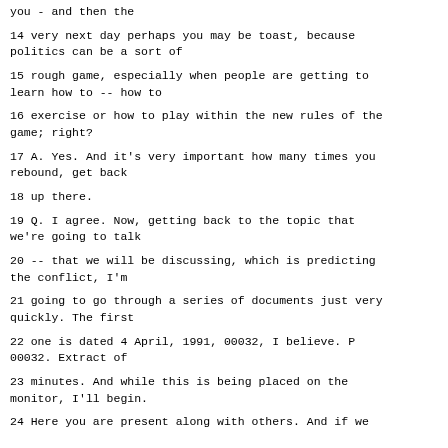you - and then the
14 very next day perhaps you may be toast, because politics can be a sort of
15 rough game, especially when people are getting to learn how to -- how to
16 exercise or how to play within the new rules of the game; right?
17 A. Yes. And it's very important how many times you rebound, get back
18 up there.
19 Q. I agree. Now, getting back to the topic that we're going to talk
20 -- that we will be discussing, which is predicting the conflict, I'm
21 going to go through a series of documents just very quickly. The first
22 one is dated 4 April, 1991, 00032, I believe. P 00032. Extract of
23 minutes. And while this is being placed on the monitor, I'll begin.
24 Here you are present along with others. And if we